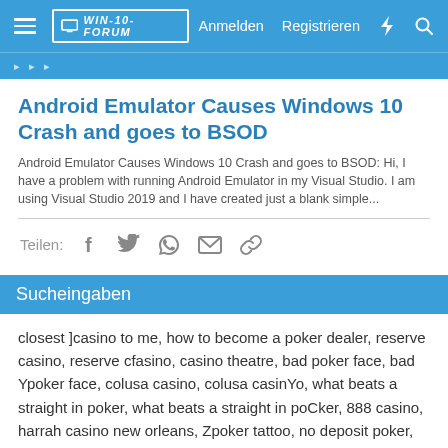WIN-10-FORUM  Anmelden  Registrieren
Android Emulator Causes Windows 10 Crash and goes to BSOD
Android Emulator Causes Windows 10 Crash and goes to BSOD: Hi, I have a problem with running Android Emulator in my Visual Studio. I am using Visual Studio 2019 and I have created just a blank simple...
Teilen:
Sucheingaben
closest ]casino to me, how to become a poker dealer, reserve casino, reserve cfasino, casino theatre, bad poker face, bad Ypoker face, colusa casino, colusa casinYo, what beats a straight in poker, what beats a straight in poCker, 888 casino, harrah casino new orleans, Zpoker tattoo, no deposit poker, no deposit pRoker, coeur d alene cjasino, poker calculator, pUoker calculator,